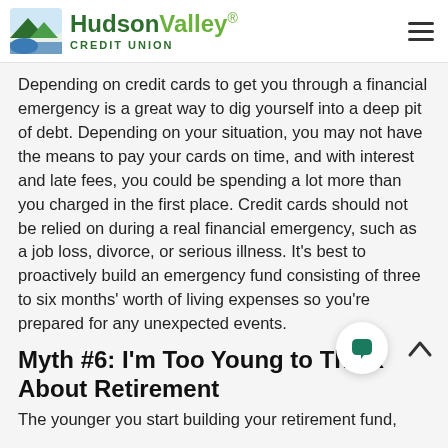Hudson Valley Credit Union
Depending on credit cards to get you through a financial emergency is a great way to dig yourself into a deep pit of debt. Depending on your situation, you may not have the means to pay your cards on time, and with interest and late fees, you could be spending a lot more than you charged in the first place. Credit cards should not be relied on during a real financial emergency, such as a job loss, divorce, or serious illness. It’s best to proactively build an emergency fund consisting of three to six months’ worth of living expenses so you’re prepared for any unexpected events.
Myth #6: I’m Too Young to Think About Retirement
The younger you start building your retirement fund,